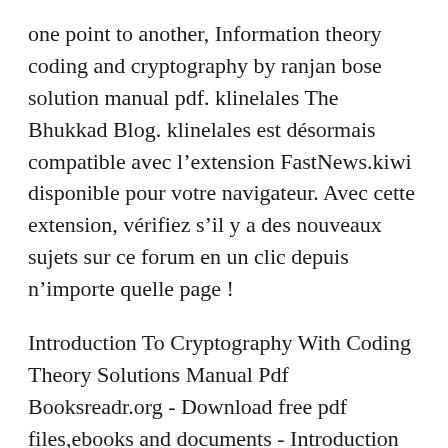one point to another, Information theory coding and cryptography by ranjan bose solution manual pdf. klinelales The Bhukkad Blog. klinelales est désormais compatible avec l'extension FastNews.kiwi disponible pour votre navigateur. Avec cette extension, vérifiez s'il y a des nouveaux sujets sur ce forum en un clic depuis n'importe quelle page !
Introduction To Cryptography With Coding Theory Solutions Manual Pdf Booksreadr.org - Download free pdf files,ebooks and documents - Introduction To. website is the easiest method to find manuals solution, we have been pleased online with free streaming PDF manual, user guide, instructions, owner's manuals, advice , INTRODUCTION TO CRYPTOGRAPHY...